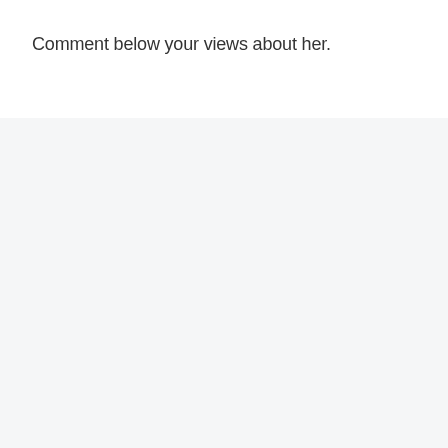Comment below your views about her.